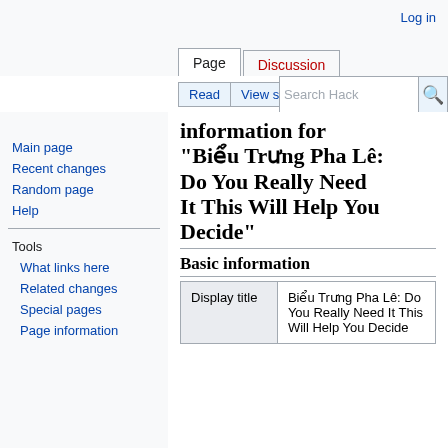Log in
Page | Discussion | Read | View source | View history | Search Hack
Main page
Recent changes
Random page
Help
Tools
What links here
Related changes
Special pages
Page information
information for "Biểu Trưng Pha Lê: Do You Really Need It This Will Help You Decide"
Basic information
| Display title |  |
| --- | --- |
| Display title | Biểu Trưng Pha Lê: Do You Really Need It This Will Help You Decide |